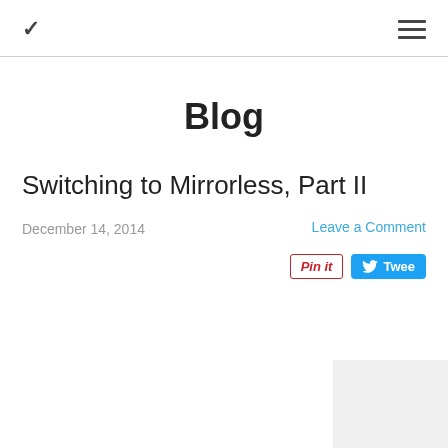≡ (hamburger menu) and chevron navigation
Blog
Switching to Mirrorless, Part II
December 14, 2014
Leave a Comment
[Figure (other): Pin it button and Tweet button]
[Figure (other): Partial image placeholder at bottom right]